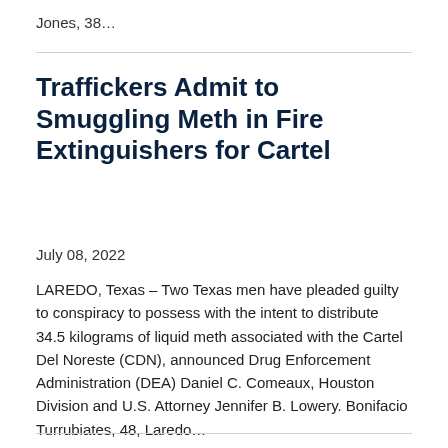Jones, 38…
Traffickers Admit to Smuggling Meth in Fire Extinguishers for Cartel
July 08, 2022
LAREDO, Texas – Two Texas men have pleaded guilty to conspiracy to possess with the intent to distribute 34.5 kilograms of liquid meth associated with the Cartel Del Noreste (CDN), announced Drug Enforcement Administration (DEA) Daniel C. Comeaux, Houston Division and U.S. Attorney Jennifer B. Lowery. Bonifacio Turrubiates, 48, Laredo…